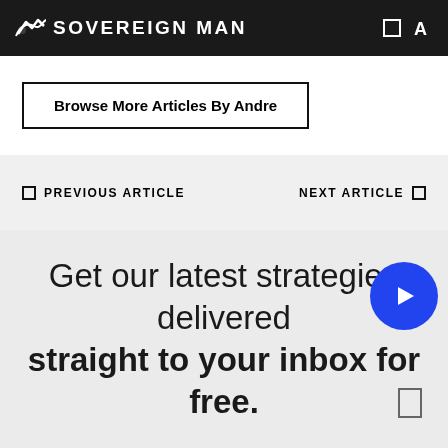SOVEREIGN MAN
Browse More Articles By Andre
PREVIOUS ARTICLE   NEXT ARTICLE
Get our latest strategies delivered straight to your inbox for free.